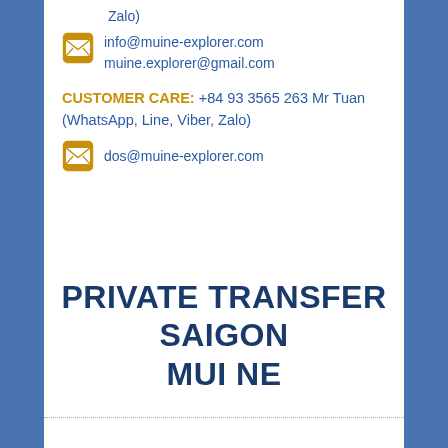Zalo)
info@muine-explorer.com
muine.explorer@gmail.com
CUSTOMER CARE:   +84 93 3565 263  Mr Tuan  (WhatsApp, Line, Viber, Zalo)
dos@muine-explorer.com
PRIVATE TRANSFER SAIGON MUI NE